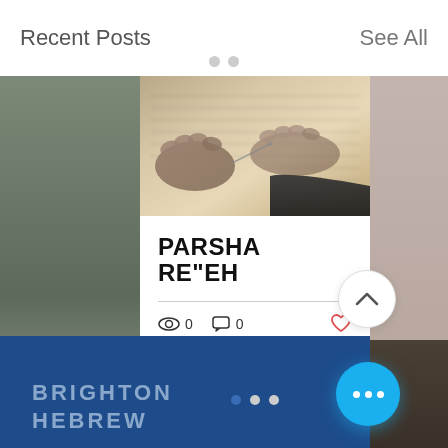Recent Posts    See All
[Figure (photo): Hands reading from a Torah scroll or Hebrew text book, close-up overhead shot with blurred motion]
PARSHA RE"EH
0 views  0 comments  0 likes
BRIGHTON HEBREW